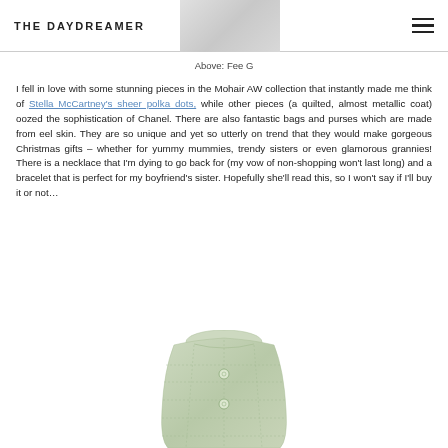THE DAYDREAMER
Above: Fee G
I fell in love with some stunning pieces in the Mohair AW collection that instantly made me think of Stella McCartney's sheer polka dots, while other pieces (a quilted, almost metallic coat) oozed the sophistication of Chanel. There are also fantastic bags and purses which are made from eel skin. They are so unique and yet so utterly on trend that they would make gorgeous Christmas gifts – whether for yummy mummies, trendy sisters or even glamorous grannies! There is a necklace that I'm dying to go back for (my vow of non-shopping won't last long) and a bracelet that is perfect for my boyfriend's sister. Hopefully she'll read this, so I won't say if I'll buy it or not…
[Figure (photo): A light green quilted coat with decorative buttons, shown cropped from the bottom of the page]